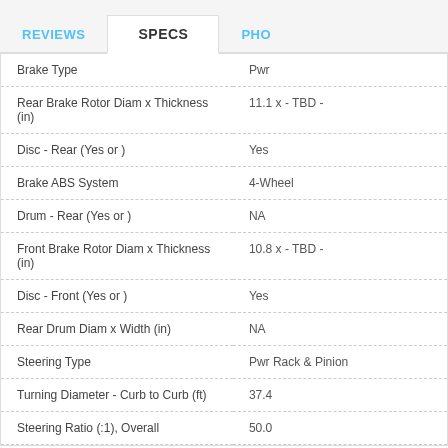REVIEWS  |  SPECS  |  PHO
| Specification | Value |
| --- | --- |
| Brake Type | Pwr |
| Rear Brake Rotor Diam x Thickness (in) | 11.1 x - TBD - |
| Disc - Rear (Yes or ) | Yes |
| Brake ABS System | 4-Wheel |
| Drum - Rear (Yes or ) | NA |
| Front Brake Rotor Diam x Thickness (in) | 10.8 x - TBD - |
| Disc - Front (Yes or ) | Yes |
| Rear Drum Diam x Width (in) | NA |
| Steering Type | Pwr Rack & Pinion |
| Turning Diameter - Curb to Curb (ft) | 37.4 |
| Steering Ratio (:1), Overall | 50.0 |